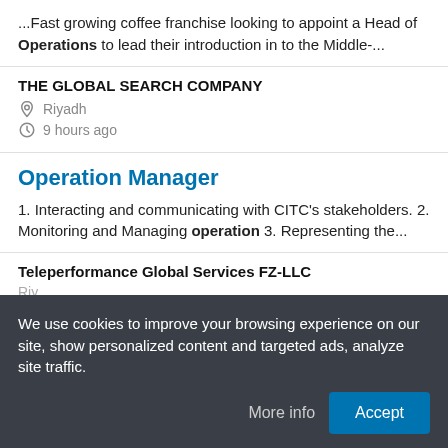...Fast growing coffee franchise looking to appoint a Head of Operations to lead their introduction in to the Middle-...
THE GLOBAL SEARCH COMPANY
Riyadh
9 hours ago
Operation Manager
1. Interacting and communicating with CITC's stakeholders. 2. Monitoring and Managing operation 3. Representing the...
Teleperformance Global Services FZ-LLC
Riyadh
We use cookies to improve your browsing experience on our site, show personalized content and targeted ads, analyze site traffic.
More info
Accept